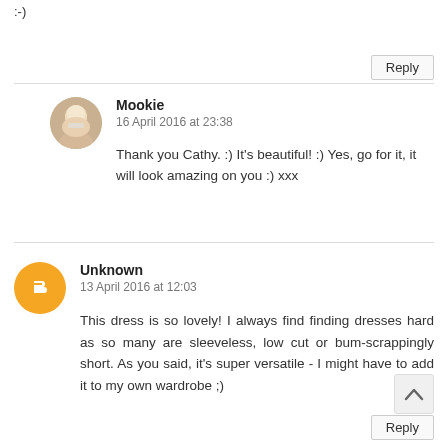:-)
Reply
Mookie
16 April 2016 at 23:38

Thank you Cathy. :) It's beautiful! :) Yes, go for it, it will look amazing on you :) xxx
Unknown
13 April 2016 at 12:03

This dress is so lovely! I always find finding dresses hard as so many are sleeveless, low cut or bum-scrappingly short. As you said, it's super versatile - I might have to add it to my own wardrobe ;)
Reply